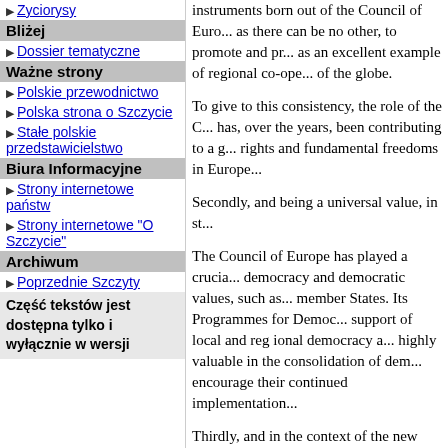Zyciorysy
Bliżej
Dossier tematyczne
Ważne strony
Polskie przewodnictwo
Polska strona o Szczycie
Stałe polskie przedstawicielstwo
Biura Informacyjne
Strony internetowe państw
Strony internetowe "O Szczycie"
Archiwum
Poprzednie Szczyty
Część tekstów jest dostępna tylko i wyłącznie w wersji
instruments born out of the Council of Euro... as there can be no other, to promote and pr... as an excellent example of regional co-ope... of the globe.
To give to this consistency, the role of the C... has, over the years, been contributing to a g... rights and fundamental freedoms in Europe...
Secondly, and being a universal value, in st...
The Council of Europe has played a crucia... democracy and democratic values, such as... member States. Its Programmes for Democ... support of local and reg ional democracy a... highly valuable in the consolidation of dem... encourage their continued implementation...
Thirdly, and in the context of the new chall... the rule of law. In this framework, we see t... between all member States of the Council o... nonetheless, still needs to be furthered.
Fourthly, in the cultural dimension. The Co... positive reaction in support of European va...